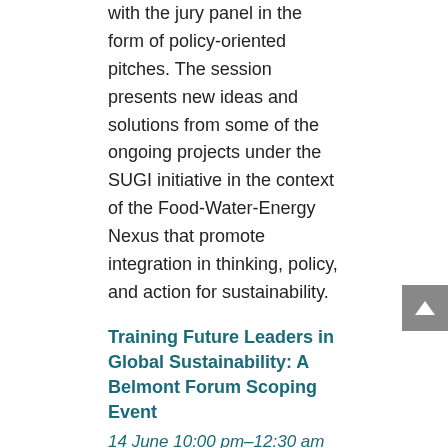with the jury panel in the form of policy-oriented pitches. The session presents new ideas and solutions from some of the ongoing projects under the SUGI initiative in the context of the Food-Water-Energy Nexus that promote integration in thinking, policy, and action for sustainability.
Training Future Leaders in Global Sustainability: A Belmont Forum Scoping Event
14 June 10:00 pm–12:30 am AEST
This Belmont Forum scoping event will consult the international leadership and training community to lead the development of the new Future Leaders CRA.
Virtual Idea Market Session 2